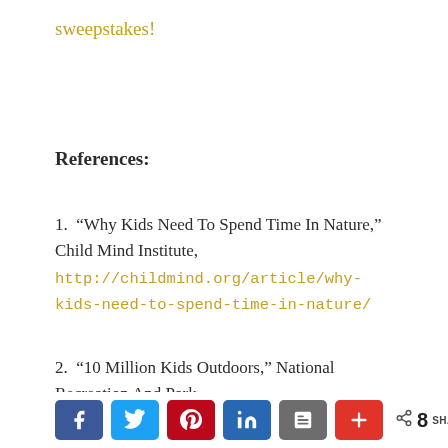sweepstakes!
References:
1. “Why Kids Need To Spend Time In Nature,” Child Mind Institute, http://childmind.org/article/why-kids-need-to-spend-time-in-nature/
2. “10 Million Kids Outdoors,” National Recreation And Park
[Figure (other): Social sharing bar with Facebook, Twitter, Pinterest, LinkedIn, Blogger, and add buttons, plus share count of 8]